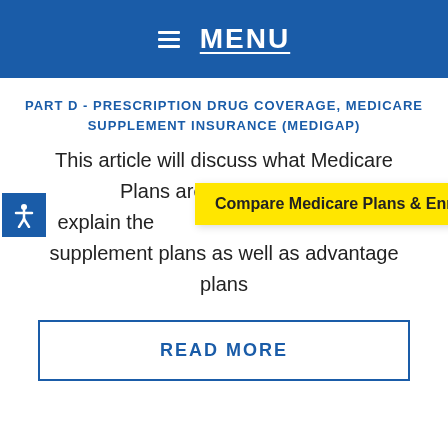MENU
PART D - PRESCRIPTION DRUG COVERAGE, MEDICARE SUPPLEMENT INSURANCE (MEDIGAP)
This article will discuss what Medicare Plans are and explain the basic differences between supplement plans as well as advantage plans
[Figure (other): Yellow tooltip overlay reading 'Compare Medicare Plans & Enroll']
READ MORE